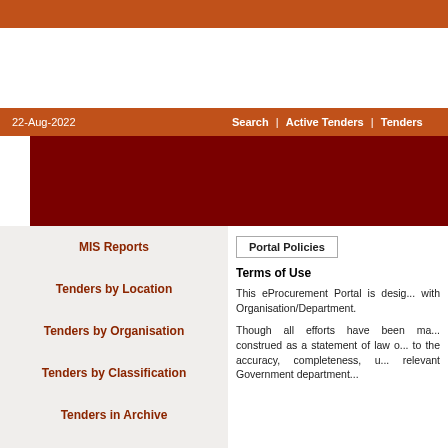22-Aug-2022
Search | Active Tenders | Tenders
MIS Reports
Tenders by Location
Tenders by Organisation
Tenders by Classification
Tenders in Archive
Portal Policies
Terms of Use
This eProcurement Portal is designed to facilitate Organisation/Department.
Though all efforts have been made, this should not be construed as a statement of law or used for any legal purposes. No claim as to the accuracy, completeness, usefulness is made in respect of the relevant Government department.